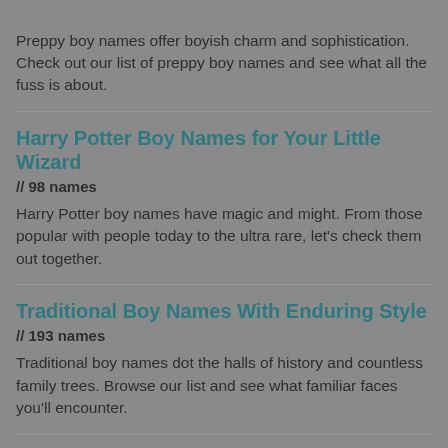Preppy boy names offer boyish charm and sophistication. Check out our list of preppy boy names and see what all the fuss is about.
Harry Potter Boy Names for Your Little Wizard
// 98 names
Harry Potter boy names have magic and might. From those popular with people today to the ultra rare, let's check them out together.
Traditional Boy Names With Enduring Style
// 193 names
Traditional boy names dot the halls of history and countless family trees. Browse our list and see what familiar faces you'll encounter.
Saint Names for Boys That Honor Your Faith